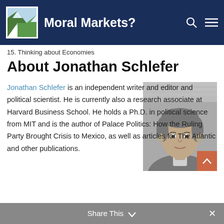Moral Markets?
15. Thinking about Economies
About Jonathan Schlefer
[Figure (photo): Black and white headshot photo of Jonathan Schlefer, a middle-aged man wearing a sweater]
Jonathan Schlefer is an independent writer and editor and political scientist. He is currently also a research associate at Harvard Business School. He holds a Ph.D. in political science from MIT and is the author of Palace Politics: How the Ruling Party Brought Crisis to Mexico, as well as articles for The Atlantic and other publications.
Share This